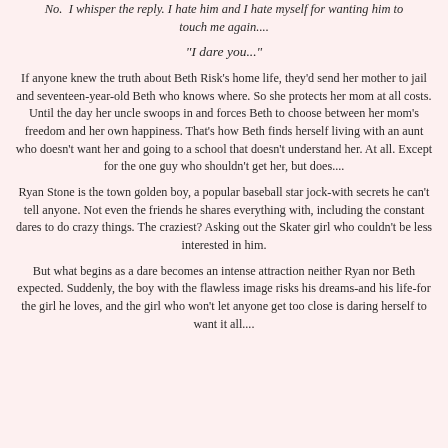No. I whisper the reply. I hate him and I hate myself for wanting him to touch me again....
"I dare you..."
If anyone knew the truth about Beth Risk's home life, they'd send her mother to jail and seventeen-year-old Beth who knows where. So she protects her mom at all costs. Until the day her uncle swoops in and forces Beth to choose between her mom's freedom and her own happiness. That's how Beth finds herself living with an aunt who doesn't want her and going to a school that doesn't understand her. At all. Except for the one guy who shouldn't get her, but does....
Ryan Stone is the town golden boy, a popular baseball star jock-with secrets he can't tell anyone. Not even the friends he shares everything with, including the constant dares to do crazy things. The craziest? Asking out the Skater girl who couldn't be less interested in him.
But what begins as a dare becomes an intense attraction neither Ryan nor Beth expected. Suddenly, the boy with the flawless image risks his dreams-and his life-for the girl he loves, and the girl who won't let anyone get too close is daring herself to want it all....